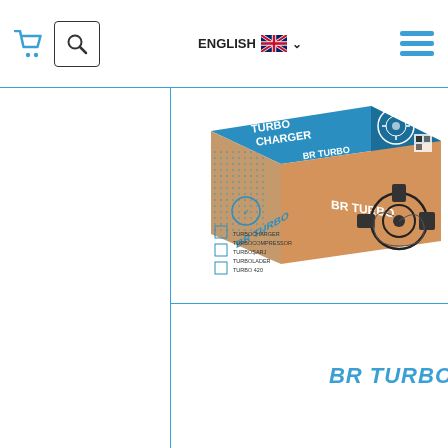ENGLISH [flag] [dropdown] | [cart] [search] [menu]
[Figure (photo): BR Turbo turbocharger product box with blue top and kraft brown sides, displaying turbocharger graphic and multilingual product text]
BR TURBO